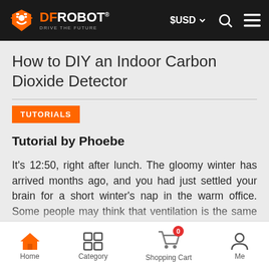[Figure (screenshot): DFRobot website top navigation bar with logo, $USD currency selector, search icon, and hamburger menu on dark background]
How to DIY an Indoor Carbon Dioxide Detector
TUTORIALS
Tutorial by Phoebe
It's 12:50, right after lunch. The gloomy winter has arrived months ago, and you had just settled your brain for a short winter's nap in the warm office. Some people may think that ventilation is the same thing as air conditioning, but does it
[Figure (screenshot): Mobile bottom navigation bar with Home, Category, Shopping Cart (with 0 badge), and Me icons]